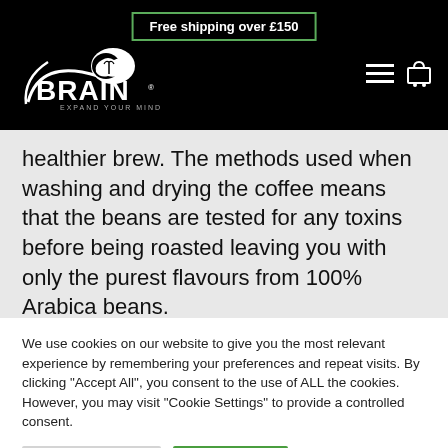Free shipping over £150
[Figure (logo): XBrain logo with brain graphic and tagline EXPAND YOUR MIND on black background]
healthier brew. The methods used when washing and drying the coffee means that the beans are tested for any toxins before being roasted leaving you with only the purest flavours from 100% Arabica beans.
We use cookies on our website to give you the most relevant experience by remembering your preferences and repeat visits. By clicking "Accept All", you consent to the use of ALL the cookies. However, you may visit "Cookie Settings" to provide a controlled consent.